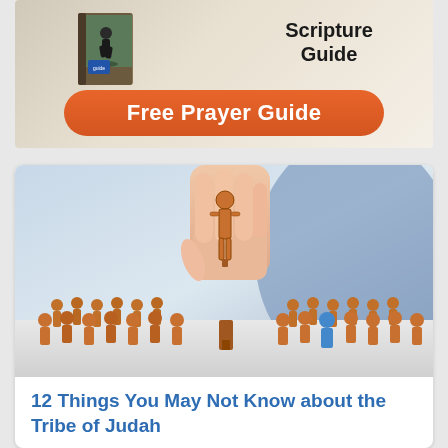[Figure (illustration): Advertisement banner showing a Scripture Guide book cover and an orange rounded-rectangle button labeled 'Free Prayer Guide']
[Figure (photo): Photo of a hand picking up a wooden cutout figure of a person from a group of similar wooden figures, some orange and some blue]
12 Things You May Not Know about the Tribe of Judah